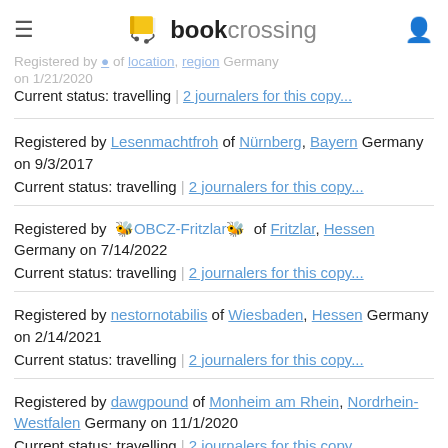bookcrossing (logo/navigation bar)
Registered by [user] of [location] Germany on 1/21/2020
Current status: travelling | 2 journalers for this copy...
Registered by Lesenmachtfroh of Nürnberg, Bayern Germany on 9/3/2017
Current status: travelling | 2 journalers for this copy...
Registered by 🌻OBCZ-Fritzlar🌻 of Fritzlar, Hessen Germany on 7/14/2022
Current status: travelling | 2 journalers for this copy...
Registered by nestornotabilis of Wiesbaden, Hessen Germany on 2/14/2021
Current status: travelling | 2 journalers for this copy...
Registered by dawgpound of Monheim am Rhein, Nordrhein-Westfalen Germany on 11/1/2020
Current status: travelling | 2 journalers for this copy...